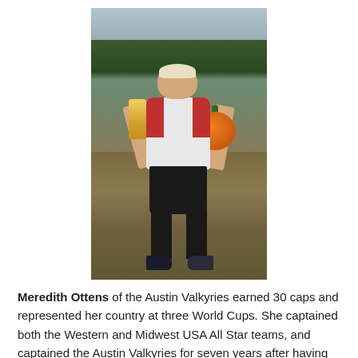[Figure (photo): A woman in an Austin Valkyries rugby jersey holding a small trophy in one hand and a large orange pumpkin in the other, standing on a grass/dirt field with trees in the background.]
Meredith Ottens of the Austin Valkyries earned 30 caps and represented her country at three World Cups. She captained both the Western and Midwest USA All Star teams, and captained the Austin Valkyries for seven years after having